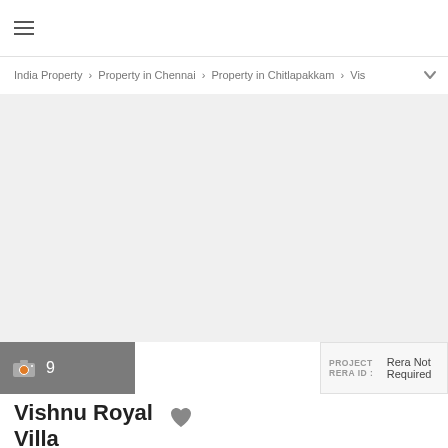≡
India Property > Property in Chennai > Property in Chitlapakkam > Vis
[Figure (photo): Large property/real estate image placeholder (grey background, no image loaded)]
📷 9
PROJECT RERA ID : Rera Not Required
Vishnu Royal Villa
by Vishnu Foundation